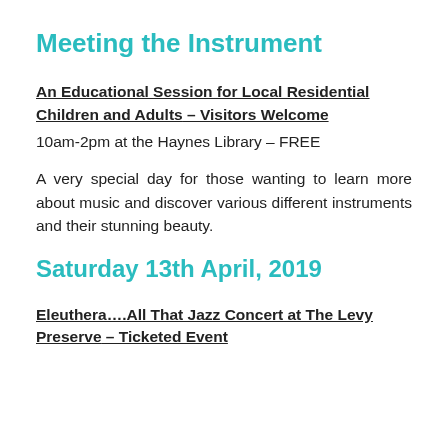Meeting the Instrument
An Educational Session for Local Residential Children and Adults – Visitors Welcome
10am-2pm at the Haynes Library – FREE
A very special day for those wanting to learn more about music and discover various different instruments and their stunning beauty.
Saturday 13th April, 2019
Eleuthera….All That Jazz Concert at The Levy Preserve – Ticketed Event